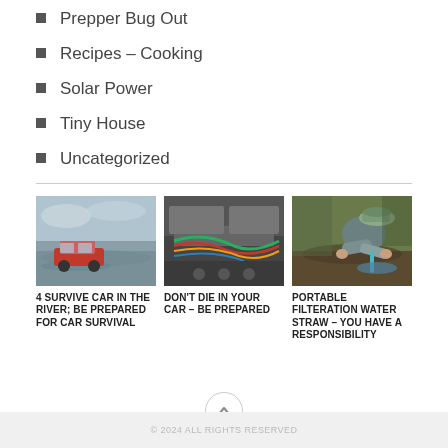Prepper Bug Out
Recipes – Cooking
Solar Power
Tiny House
Uncategorized
[Figure (photo): Red car partially submerged in flood water]
[Figure (photo): Car interior wiring with colorful cables visible]
[Figure (photo): Person crouched down using a portable water filtration straw near muddy water]
4 SURVIVE CAR IN THE RIVER; BE PREPARED FOR CAR SURVIVAL
DON'T DIE IN YOUR CAR – BE PREPARED
PORTABLE FILTERATION WATER STRAW – YOU HAVE A RESPONSIBILITY